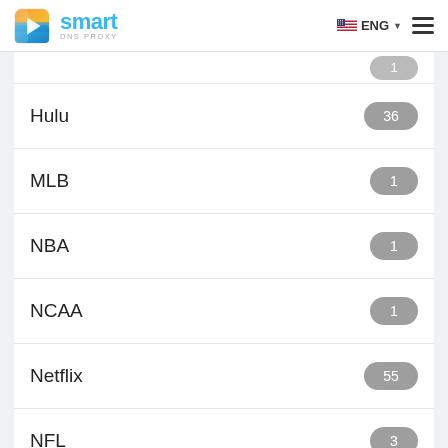Smart DNS Proxy — ENG menu header
Hulu 36
MLB 1
NBA 1
NCAA 1
Netflix 55
NFL 3
Racing 1